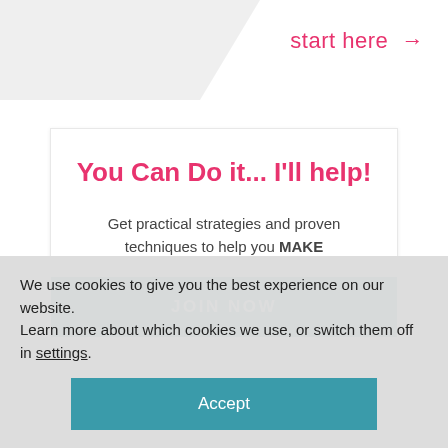[Figure (illustration): Gray diagonal shape in top-left corner, decorative background element]
start here →
You Can Do it... I'll help!
Get practical strategies and proven techniques to help you MAKE
JOIN NOW
We use cookies to give you the best experience on our website.
Learn more about which cookies we use, or switch them off in settings.
Accept